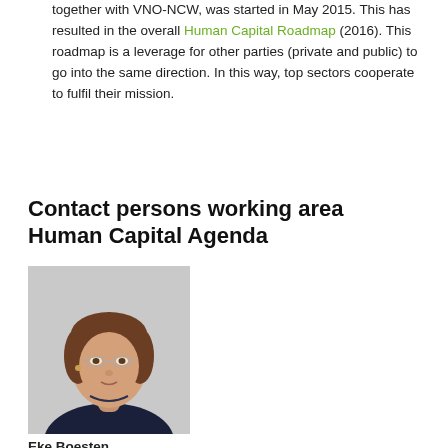together with VNO-NCW, was started in May 2015. This has resulted in the overall Human Capital Roadmap (2016). This roadmap is a leverage for other parties (private and public) to go into the same direction. In this way, top sectors cooperate to fulfil their mission.
Contact persons working area Human Capital Agenda
[Figure (photo): Portrait photo of Eke Boesten, a woman with short brown hair, glasses, wearing a dark jacket, against a light grey background.]
Eke Boesten
Groenpact